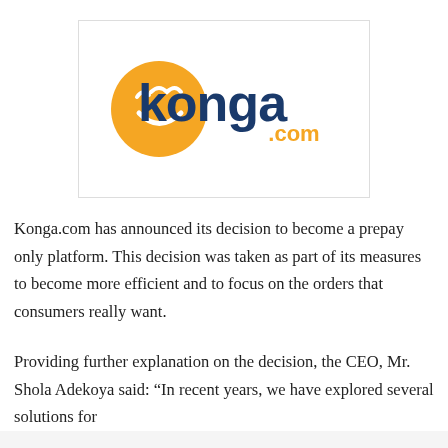[Figure (logo): Konga.com logo — orange smiley circle icon with dark blue 'konga' wordmark and orange '.com' text]
Konga.com has announced its decision to become a prepay only platform. This decision was taken as part of its measures to become more efficient and to focus on the orders that consumers really want.
Providing further explanation on the decision, the CEO, Mr. Shola Adekoya said: “In recent years, we have explored several solutions for